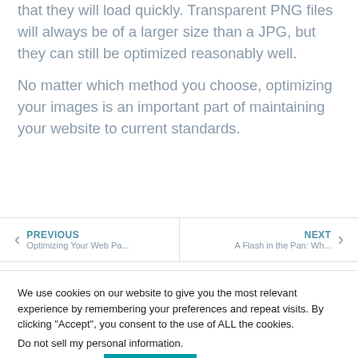that they will load quickly. Transparent PNG files will always be of a larger size than a JPG, but they can still be optimized reasonably well.
No matter which method you choose, optimizing your images is an important part of maintaining your website to current standards.
PREVIOUS Optimizing Your Web Pa...
NEXT A Flash in the Pan: Wh...
We use cookies on our website to give you the most relevant experience by remembering your preferences and repeat visits. By clicking “Accept”, you consent to the use of ALL the cookies.
Do not sell my personal information.
Cookie settings
ACCEPT